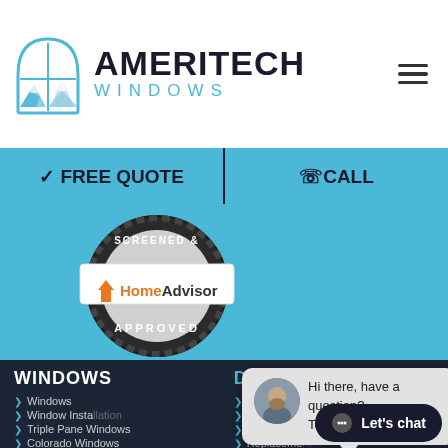[Figure (logo): Ameritech Windows logo with mountain/window icon and brand name]
FREE QUOTE
CALL
[Figure (logo): HomeAdvisor Screened & Approved badge]
WINDOWS
DOORS
Windows
Window Installation
Triple Pane Windows
Colorado Windows
Replacement Windows
Double Doors
Entry Doors
Doors
Replacement...
Unique En...
Hi there, have a question? Text us here!
Let's chat